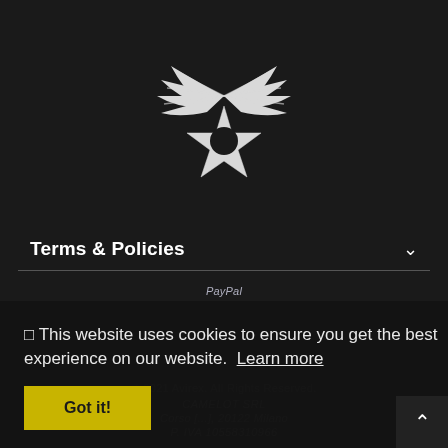[Figure (logo): Avirex brand logo: white winged star emblem with a circle center on dark background]
Terms & Policies
PayPal
© 2021 Avirex. All Rights Reserved.
CAMELOT SRL
Corso [...], 20122 Milano
P. IVA 10558310966
🍪 This website uses cookies to ensure you get the best experience on our website. Learn more
Got it!